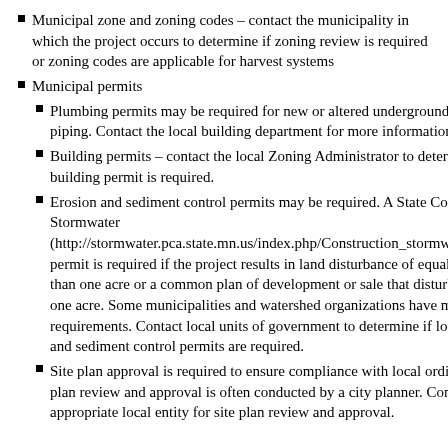Municipal zone and zoning codes – contact the municipality in which the project occurs to determine if zoning review is required or zoning codes are applicable for harvest systems
Municipal permits
Plumbing permits may be required for new or altered underground and interior piping. Contact the local building department for more information.
Building permits – contact the local Zoning Administrator to determine if a building permit is required.
Erosion and sediment control permits may be required. A State Construction Stormwater (http://stormwater.pca.state.mn.us/index.php/Construction_stormwater_program) permit is required if the project results in land disturbance of equal to or greater than one acre or a common plan of development or sale that disturbs greater than one acre. Some municipalities and watershed organizations have more stringent requirements. Contact local units of government to determine if local erosion and sediment control permits are required.
Site plan approval is required to ensure compliance with local ordinances. Site plan review and approval is often conducted by a city planner. Contact the appropriate local entity for site plan review and approval.